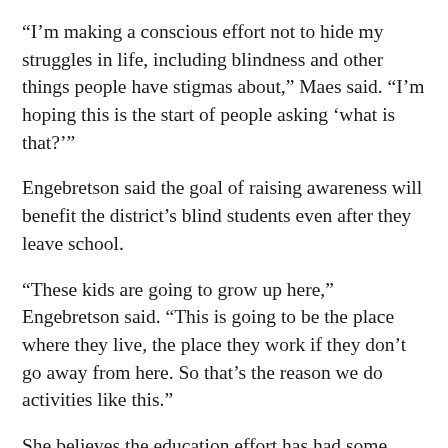“I’m making a conscious effort not to hide my struggles in life, including blindness and other things people have stigmas about,” Maes said. “I’m hoping this is the start of people asking ‘what is that?’”
Engebretson said the goal of raising awareness will benefit the district’s blind students even after they leave school.
“These kids are going to grow up here,” Engebretson said. “This is going to be the place where they live, the place they work if they don’t go away from here. So that’s the reason we do activities like this.”
She believes the education effort has had some success.
“We (the visually-impaired learning program) have